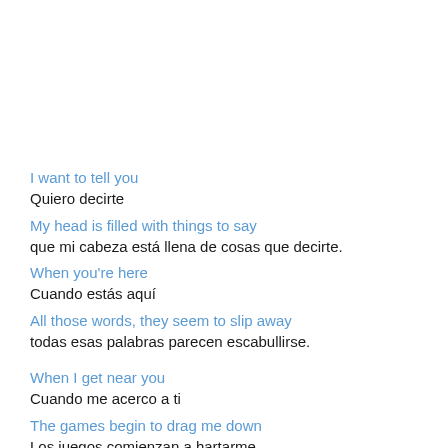I want to tell you
Quiero decirte
My head is filled with things to say
que mi cabeza está llena de cosas que decirte.
When you're here
Cuando estás aquí
All those words, they seem to slip away
todas esas palabras parecen escabullirse.

When I get near you
Cuando me acerco a ti
The games begin to drag me down
Los juegos comienzan a hartarme.
It's alright